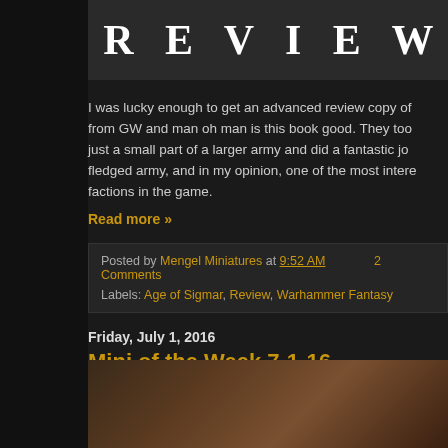[Figure (illustration): Header banner with the word REVIEW in large spaced white serif letters on dark background]
I was lucky enough to get an advanced review copy of from GW and man oh man is this book good. They too just a small part of a larger army and did a fantastic jo fledged army, and in my opinion, one of the most inter factions in the game.
Read more »
Posted by Mengel Miniatures at 9:52 AM   2 Comments
Labels: Age of Sigmar, Review, Warhammer Fantasy
Friday, July 1, 2016
Mini of the Week 7-1-16
[Figure (photo): Partial photo of painted fantasy miniature figure with armour and weapons on light background]